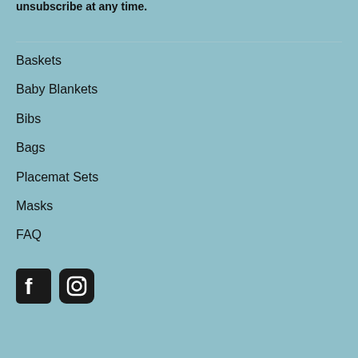unsubscribe at any time.
Baskets
Baby Blankets
Bibs
Bags
Placemat Sets
Masks
FAQ
[Figure (illustration): Facebook and Instagram social media icons]